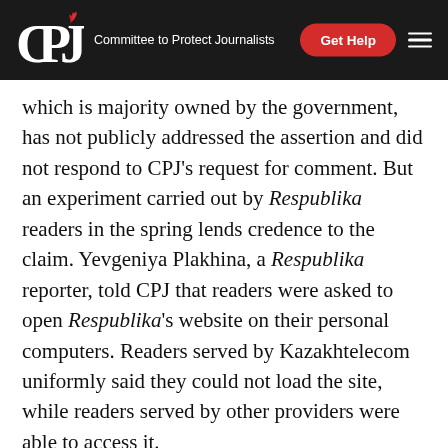CPJ — Committee to Protect Journalists | Get Help
which is majority owned by the government, has not publicly addressed the assertion and did not respond to CPJ's request for comment. But an experiment carried out by Respublika readers in the spring lends credence to the claim. Yevgeniya Plakhina, a Respublika reporter, told CPJ that readers were asked to open Respublika's website on their personal computers. Readers served by Kazakhtelecom uniformly said they could not load the site, while readers served by other providers were able to access it.
Government applies online restrictions